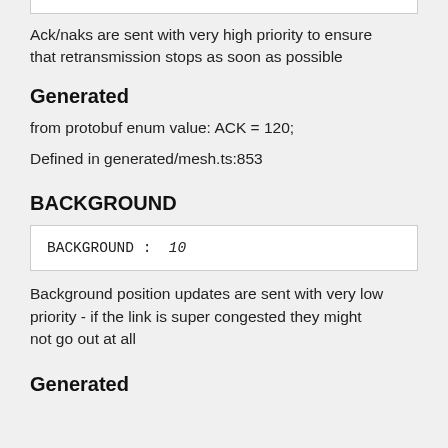Ack/naks are sent with very high priority to ensure that retransmission stops as soon as possible
Generated
from protobuf enum value: ACK = 120;
Defined in generated/mesh.ts:853
BACKGROUND
| BACKGROUND : | 10 |
Background position updates are sent with very low priority - if the link is super congested they might not go out at all
Generated